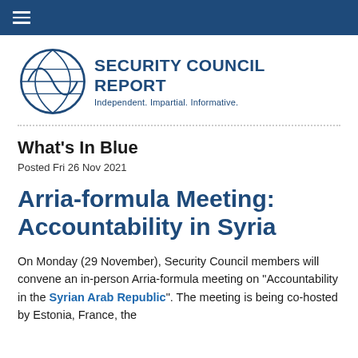≡
[Figure (logo): Security Council Report logo — circular outline with globe arc, text 'SECURITY COUNCIL REPORT' bold and 'Independent. Impartial. Informative.' below]
What's In Blue
Posted Fri 26 Nov 2021
Arria-formula Meeting: Accountability in Syria
On Monday (29 November), Security Council members will convene an in-person Arria-formula meeting on "Accountability in the Syrian Arab Republic". The meeting is being co-hosted by Estonia, France, the